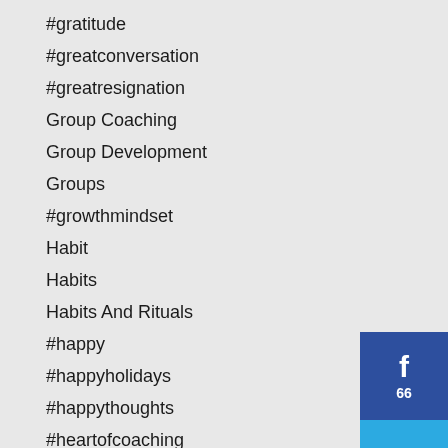#gratitude
#greatconversation
#greatresignation
Group Coaching
Group Development
Groups
#growthmindset
Habit
Habits
Habits And Rituals
#happy
#happyholidays
#happythoughts
#heartofcoaching
#hellojune
#highlightreview
High Performing Teams
Ho
#hurdle
[Figure (other): Social share buttons: Facebook (66 shares), Twitter, Pinterest]